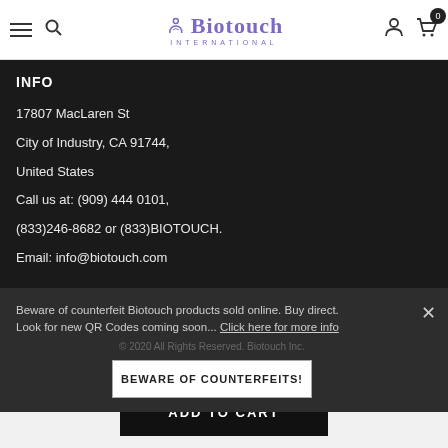[Figure (logo): Biotouch International logo with infinity/person icon in purple]
INFO
17807 MacLaren St
City of Industry, CA 91744,
United States
Call us at: (909) 444 0101,
(833)246-8682 or (833)BIOTOUCH.
Email: info@biotouch.com
Beware of counterfeit Biotouch products sold online. Buy direct. Look for new QR Codes coming soon... Click here for more info
© 2020 All Rights Reserved. Biotouch Inc.
BEWARE OF COUNTERFEITS!
ADD TO CART